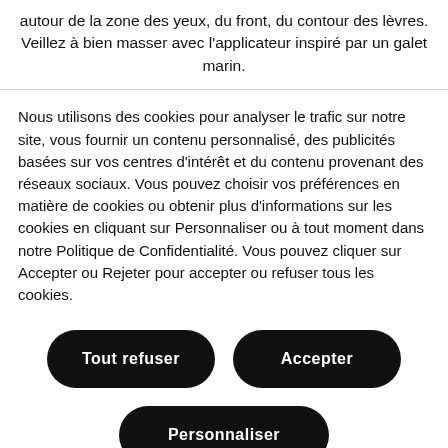autour de la zone des yeux, du front, du contour des lèvres. Veillez à bien masser avec l'applicateur inspiré par un galet marin.
Nous utilisons des cookies pour analyser le trafic sur notre site, vous fournir un contenu personnalisé, des publicités basées sur vos centres d'intérêt et du contenu provenant des réseaux sociaux. Vous pouvez choisir vos préférences en matière de cookies ou obtenir plus d'informations sur les cookies en cliquant sur Personnaliser ou à tout moment dans notre Politique de Confidentialité. Vous pouvez cliquer sur Accepter ou Rejeter pour accepter ou refuser tous les cookies.
Tout refuser
Accepter
Personnaliser